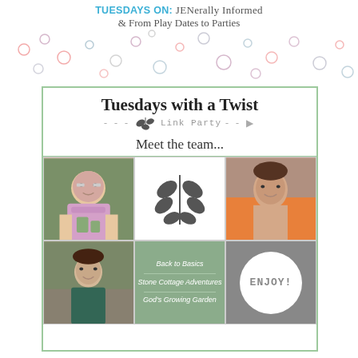TUESDAYS ON: JENerally Informed & From Play Dates to Parties
[Figure (illustration): Decorative confetti dots pattern in pink, blue, and purple scattered across the top banner area]
[Figure (infographic): Tuesdays with a Twist Link Party promotional card. Shows title 'Tuesdays with a Twist Link Party' with leaf decoration, 'Meet the team...' heading, and a 2x3 grid of photos and info including team member photos, a leaf logo, links to Back to Basics, Stone Cottage Adventures, God's Growing Garden, and an ENJOY! circle badge.]